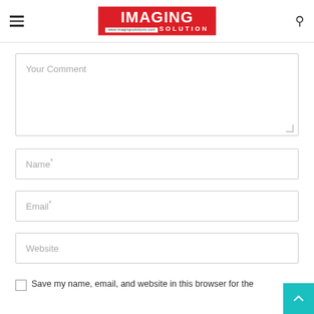[Figure (logo): Imaging Solution logo in red box with white text]
Your Comment
Name*
Email*
Website
Save my name, email, and website in this browser for the